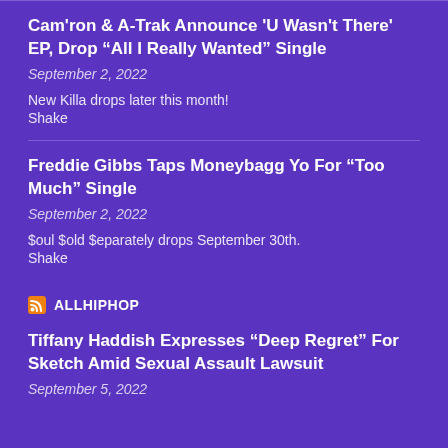Cam'ron & A-Trak Announce 'U Wasn't There' EP, Drop “All I Really Wanted” Single
September 2, 2022
New Killa drops later this month!
Shake
Freddie Gibbs Taps Moneybagg Yo For “Too Much” Single
September 2, 2022
$oul $old $eparately drops September 30th.
Shake
ALLHIPHOP
Tiffany Haddish Expresses “Deep Regret” For Sketch Amid Sexual Assault Lawsuit
September 5, 2022